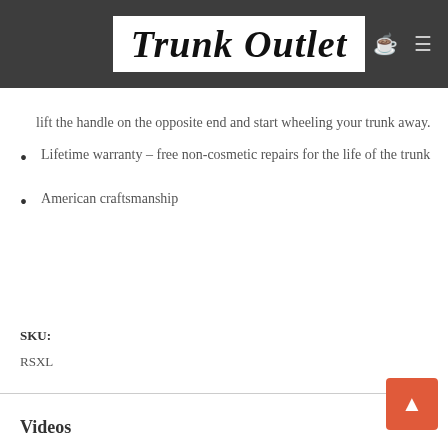Trunk Outlet
lift the handle on the opposite end and start wheeling your trunk away.
Lifetime warranty – free non-cosmetic repairs for the life of the trunk
American craftsmanship
SKU:
RSXL
Videos